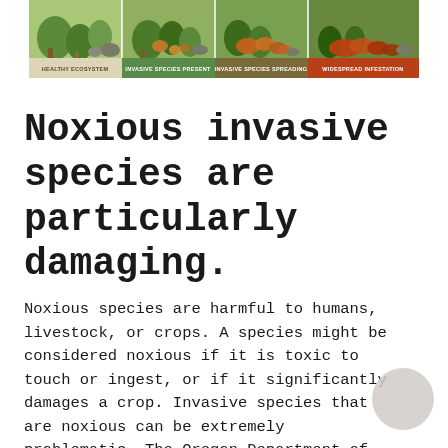[Figure (illustration): Four-panel illustration showing stages of ecosystem invasion: Healthy Ecosystem, Invasive Species Present, Invasive Species Spreading, Widespread Infestation. Each panel shows a nature scene with increasing infestation. Below each panel is a colored label strip.]
Noxious invasive species are particularly damaging.
Noxious species are harmful to humans, livestock, or crops. A species might be considered noxious if it is toxic to touch or ingest, or if it significantly damages a crop. Invasive species that are noxious can be extremely problematic. The Oregon Department of Agriculture maintains a